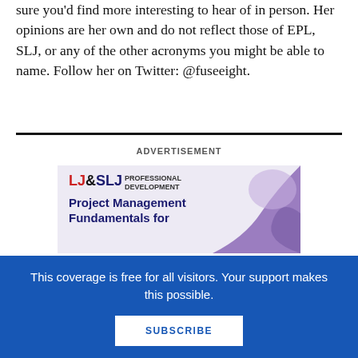sure you'd find more interesting to hear of in person. Her opinions are her own and do not reflect those of EPL, SLJ, or any of the other acronyms you might be able to name. Follow her on Twitter: @fuseeight.
ADVERTISEMENT
[Figure (illustration): LJ&SLJ Professional Development advertisement banner showing 'Project Management Fundamentals for...' with purple decorative shapes on right side]
This coverage is free for all visitors. Your support makes this possible.
SUBSCRIBE